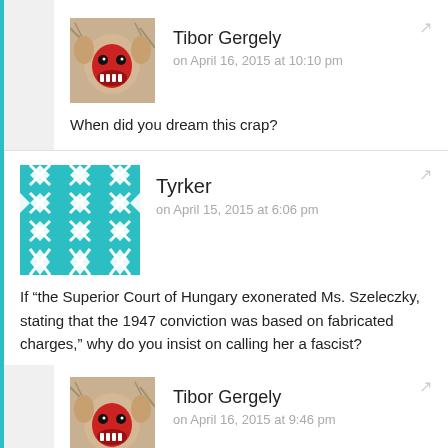[Figure (photo): Avatar image of Tibor Gergely: a creature/mask with red mouth and fur, used as profile picture]
Tibor Gergely
on April 16, 2015 at 10:10 pm
When did you dream this crap?
[Figure (illustration): Avatar image of Tyrker: a teal/cyan geometric diamond pattern, used as profile picture]
Tyrker
on April 15, 2015 at 6:06 pm
If “the Superior Court of Hungary exonerated Ms. Szeleczky, stating that the 1947 conviction was based on fabricated charges,” why do you insist on calling her a fascist?
[Figure (photo): Avatar image of Tibor Gergely: a creature/mask with red mouth and fur, used as profile picture]
Tibor Gergely
on April 16, 2015 at 9:46 pm
To be even more precise, the Supreme Court cleared her in 1993 of every trumped up charge